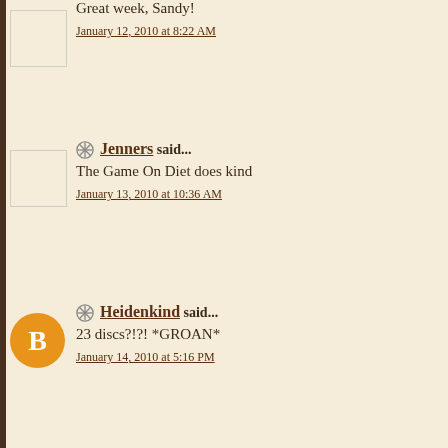Great week, Sandy!
January 12, 2010 at 8:22 AM
Jenners said...
The Game On Diet does kind
January 13, 2010 at 10:36 AM
Heidenkind said...
23 discs?!?! *GROAN*
January 14, 2010 at 5:16 PM
Post a Comment
Newer Post
Subscribe to: Post Comments (Atom)